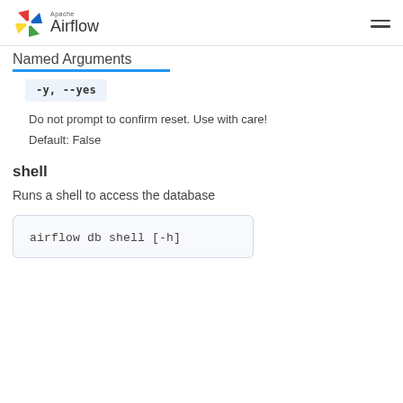Apache Airflow
Named Arguments
-y, --yes
Do not prompt to confirm reset. Use with care!
Default: False
shell
Runs a shell to access the database
airflow db shell [-h]